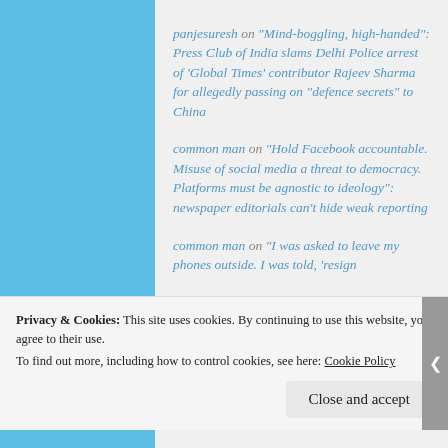panjesuresh on “Mind-boggling, high-handed”: Press Club of India slams Delhi Police arrest of ‘Global Times’ contributor Rajeev Sharma for allegedly passing on “defence secrets” to China
common man on “Hold Facebook accountable. Misuse of social media a threat to democracy. Platforms must be agnostic to ideology”: newspaper editorials can’t hide weak reporting
common man on “I was asked to leave my phones outside. I was told, ‘resign
Privacy & Cookies: This site uses cookies. By continuing to use this website, you agree to their use.
To find out more, including how to control cookies, see here: Cookie Policy